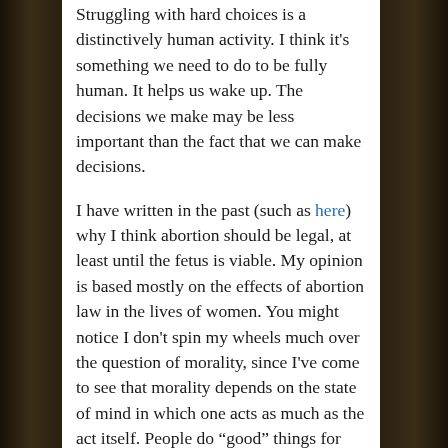Struggling with hard choices is a distinctively human activity. I think it's something we need to do to be fully human. It helps us wake up. The decisions we make may be less important than the fact that we can make decisions.
I have written in the past (such as here) why I think abortion should be legal, at least until the fetus is viable. My opinion is based mostly on the effects of abortion law in the lives of women. You might notice I don't spin my wheels much over the question of morality, since I've come to see that morality depends on the state of mind in which one acts as much as the act itself. People do “good” things for selfish reasons, and “bad” things for altruistic reasons. Judge not, lest ye be judged.